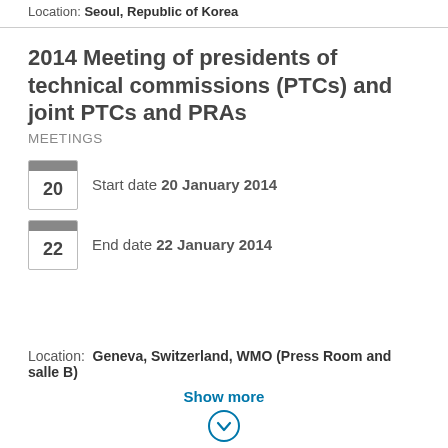Location: Seoul, Republic of Korea
2014 Meeting of presidents of technical commissions (PTCs) and joint PTCs and PRAs
MEETINGS
Start date 20 January 2014
End date 22 January 2014
Location: Geneva, Switzerland, WMO (Press Room and salle B)
Show more